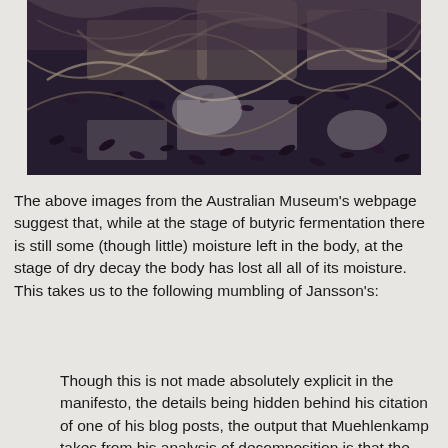[Figure (photo): Close-up photograph of dark seeds and dried plant material, possibly decomposed organic matter, on a white background. The seeds appear dark purple/brown and there are dried fibrous plant strands mixed throughout.]
The above images from the Australian Museum's webpage suggest that, while at the stage of butyric fermentation there is still some (though little) moisture left in the body, at the stage of dry decay the body has lost all all of its moisture. This takes us to the following mumbling of Jansson's:
Though this is not made absolutely explicit in the manifesto, the details being hidden behind his citation of one of his blog posts, the output that Muehlenkamp takes from his analysis of decomposition is that the bodies older than 50 days will have lost 50% of their mass – a figure which is nothing more than Muehlenkamp's guesstimate, unsupported by any data